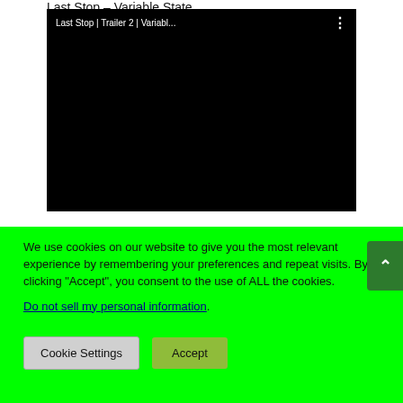Last Stop – Variable State
[Figure (screenshot): Embedded YouTube video player showing 'Last Stop | Trailer 2 | Variabl...' with black video area and three-dot menu icon in top right of player]
We use cookies on our website to give you the most relevant experience by remembering your preferences and repeat visits. By clicking “Accept”, you consent to the use of ALL the cookies.
Do not sell my personal information.
Cookie Settings   Accept